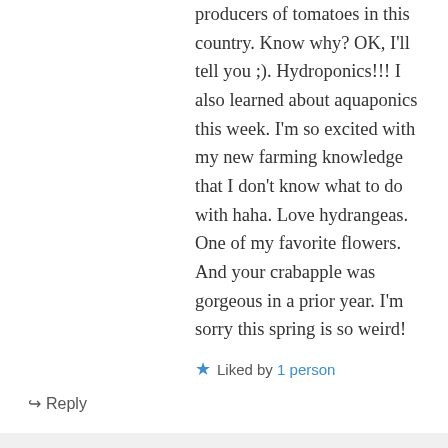producers of tomatoes in this country. Know why? OK, I'll tell you ;). Hydroponics!!! I also learned about aquaponics this week. I'm so excited with my new farming knowledge that I don't know what to do with haha. Love hydrangeas. One of my favorite flowers. And your crabapple was gorgeous in a prior year. I'm sorry this spring is so weird!
★ Liked by 1 person
↪ Reply
Kate Crimmins on April 18, 2017 at 7:38 pm
I didn't know that either! I thought most of our off season produce came from